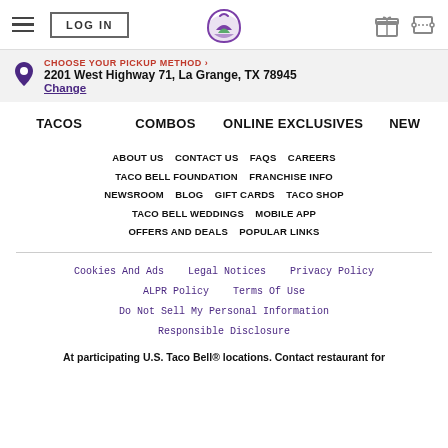LOG IN | Taco Bell logo | gift icon | coupon icon
CHOOSE YOUR PICKUP METHOD > 2201 West Highway 71, La Grange, TX 78945 Change
TACOS   COMBOS   ONLINE EXCLUSIVES   NEW
ABOUT US   CONTACT US   FAQS   CAREERS   TACO BELL FOUNDATION   FRANCHISE INFO   NEWSROOM   BLOG   GIFT CARDS   TACO SHOP   TACO BELL WEDDINGS   MOBILE APP   OFFERS AND DEALS   POPULAR LINKS
Cookies And Ads   Legal Notices   Privacy Policy   ALPR Policy   Terms Of Use   Do Not Sell My Personal Information   Responsible Disclosure
At participating U.S. Taco Bell® locations. Contact restaurant for